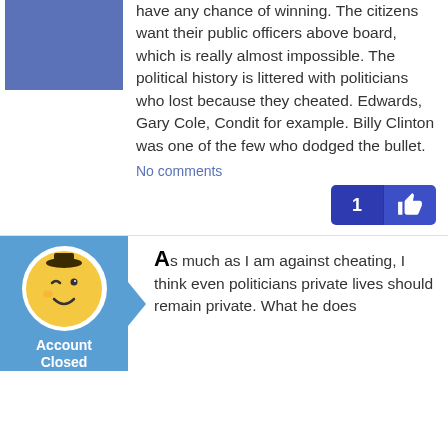have any chance of winning. The citizens want their public officers above board, which is really almost impossible. The political history is littered with politicians who lost because they cheated. Edwards, Gary Cole, Condit for example. Billy Clinton was one of the few who dodged the bullet.
No comments
[Figure (other): Like button with count 1 and thumbs up icon on dark blue background]
[Figure (illustration): Account Closed avatar: yellow smiley face with winking eye on light blue background with arrow pointer shape]
As much as I am against cheating, I think even politicians private lives should remain private. What he does